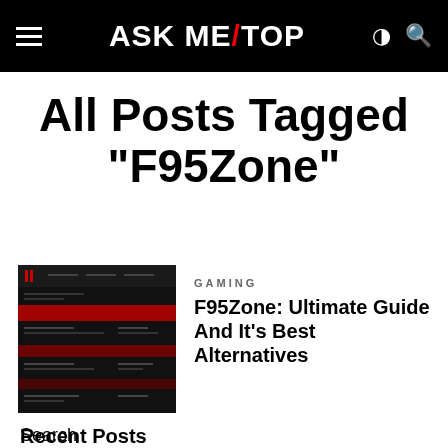ASK ME/TOP
All Posts Tagged "F95Zone"
[Figure (screenshot): Screenshot thumbnail of the F95Zone website, dark background with red horizontal bars and a logo icon in the top left]
GAMING
F95Zone: Ultimate Guide And It's Best Alternatives
Search
Recent Posts